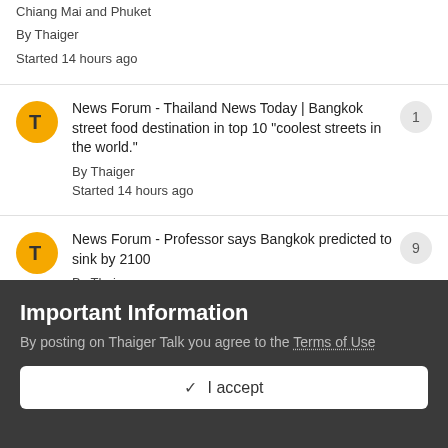Chiang Mai and Phuket
By Thaiger
Started 14 hours ago
News Forum - Thailand News Today | Bangkok street food destination in top 10 "coolest streets in the world."
By Thaiger
Started 14 hours ago
News Forum - Professor says Bangkok predicted to sink by 2100
By Thaiger
Started 14 hours ago
News Forum - Political protestors meet to
Important Information
By posting on Thaiger Talk you agree to the Terms of Use
✓  I accept